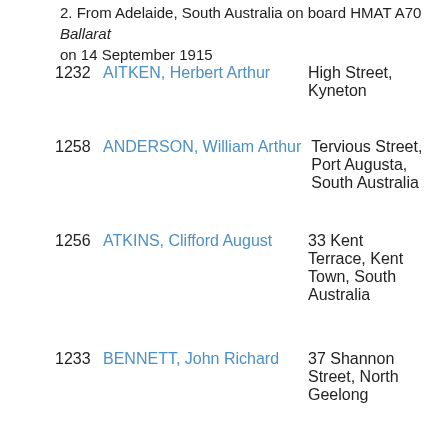2. From Adelaide, South Australia on board HMAT A70 Ballarat on 14 September 1915
1232 AITKEN, Herbert Arthur — High Street, Kyneton
1258 ANDERSON, William Arthur — Tervious Street, Port Augusta, South Australia
1256 ATKINS, Clifford August — 33 Kent Terrace, Kent Town, South Australia
1233 BENNETT, John Richard — 37 Shannon Street, North Geelong
1289 BEST, Herbert Emanuel — Charlton Street, No. 1 Bower Crescent, Port Adelaide, South Australia
1259 BIGGINS, Albert James — Burnside, Adelaide, South Australia